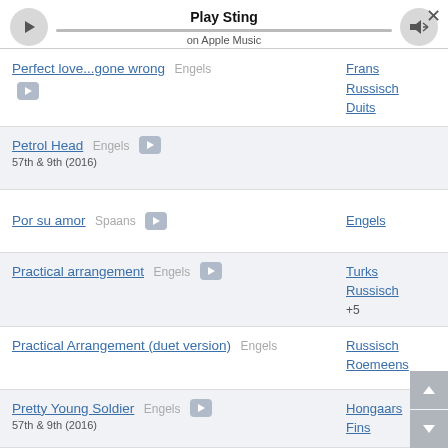Play Sting on Apple Music
Perfect love...gone wrong  Engels  [play]  Frans  Russisch  Duits
Petrol Head  Engels  [play]  57th & 9th (2016)
Por su amor  Spaans  [play]  Engels
Practical arrangement  Engels  [play]  Turks  Russisch  +5
Practical Arrangement (duet version)  Engels  Russisch  Roemeens
Pretty Young Soldier  Engels  [play]  Hongaars  Fins  57th & 9th (2016)